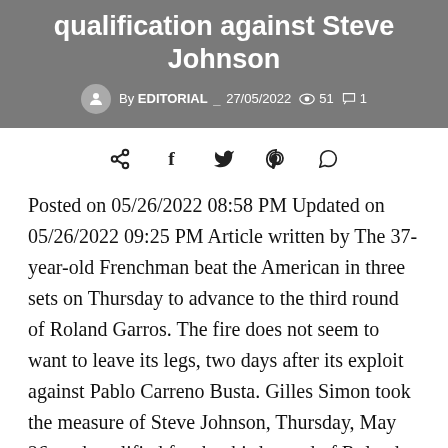qualification against Steve Johnson
By EDITORIAL _ 27/05/2022  👁 51  💬 1
[Figure (other): Social share icons row: share, facebook, twitter, pinterest, whatsapp]
Posted on 05/26/2022 08:58 PM Updated on 05/26/2022 09:25 PM Article written by The 37-year-old Frenchman beat the American in three sets on Thursday to advance to the third round of Roland Garros. The fire does not seem to want to leave its legs, two days after its exploit against Pablo Carreno Busta. Gilles Simon took the measure of Steve Johnson, Thursday, May 26, and qualified for the third round of Roland-Garros (7-5, 6-1, 7-6 [8-6]). However, struck by a double